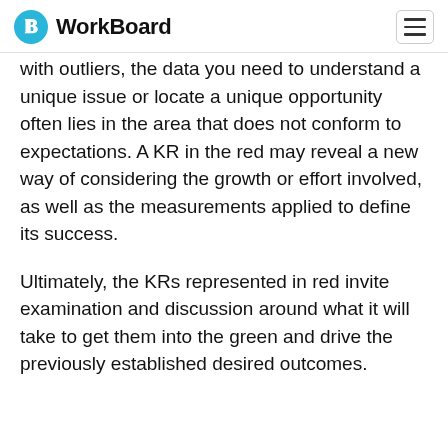WorkBoard
with outliers, the data you need to understand a unique issue or locate a unique opportunity often lies in the area that does not conform to expectations. A KR in the red may reveal a new way of considering the growth or effort involved, as well as the measurements applied to define its success.
Ultimately, the KRs represented in red invite examination and discussion around what it will take to get them into the green and drive the previously established desired outcomes.